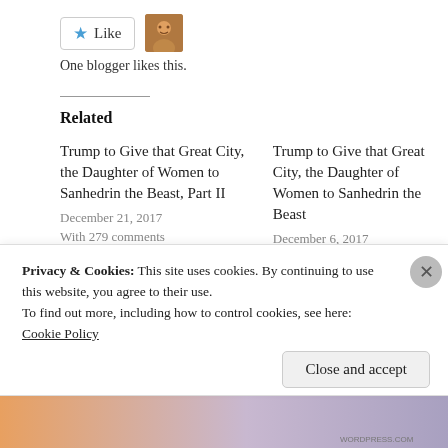[Figure (other): Like button with star icon and blogger avatar photo]
One blogger likes this.
Related
Trump to Give that Great City, the Daughter of Women to Sanhedrin the Beast, Part II
December 21, 2017
With 279 comments
Trump to Give that Great City, the Daughter of Women to Sanhedrin the Beast
December 6, 2017
With 81 comments
Behold the Bride of Christ of Jesus the Christ, the Bride Groom
Privacy & Cookies: This site uses cookies. By continuing to use this website, you agree to their use.
To find out more, including how to control cookies, see here: Cookie Policy
Close and accept